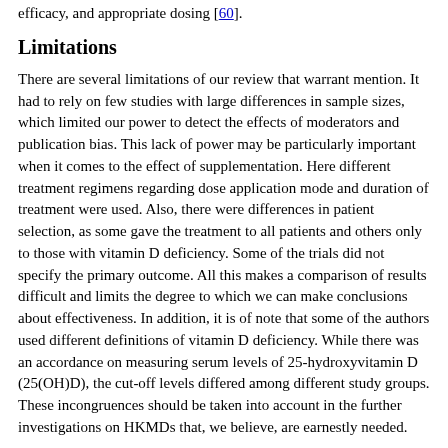efficacy, and appropriate dosing [60].
Limitations
There are several limitations of our review that warrant mention. It had to rely on few studies with large differences in sample sizes, which limited our power to detect the effects of moderators and publication bias. This lack of power may be particularly important when it comes to the effect of supplementation. Here different treatment regimens regarding dose application mode and duration of treatment were used. Also, there were differences in patient selection, as some gave the treatment to all patients and others only to those with vitamin D deficiency. Some of the trials did not specify the primary outcome. All this makes a comparison of results difficult and limits the degree to which we can make conclusions about effectiveness. In addition, it is of note that some of the authors used different definitions of vitamin D deficiency. While there was an accordance on measuring serum levels of 25-hydroxyvitamin D (25(OH)D), the cut-off levels differed among different study groups. These incongruences should be taken into account in the further investigations on HKMDs that, we believe, are earnestly needed.
Finally, one could also question the composition of our survey. HKMDs are disparate diagnoses, and one might argue that it is